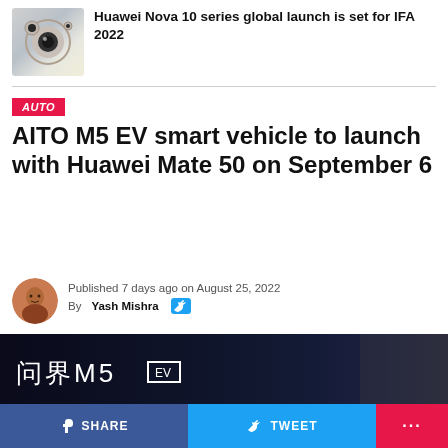[Figure (photo): Thumbnail of Huawei Nova 10 series phone showing camera module]
Huawei Nova 10 series global launch is set for IFA 2022
AUTO
AITO M5 EV smart vehicle to launch with Huawei Mate 50 on September 6
Published 7 days ago on August 25, 2022
By Yash Mishra
[Figure (photo): Hero image showing AITO M5 EV branding with Chinese characters 问界M5 EV on a dark background]
SHARE   TWEET   ...